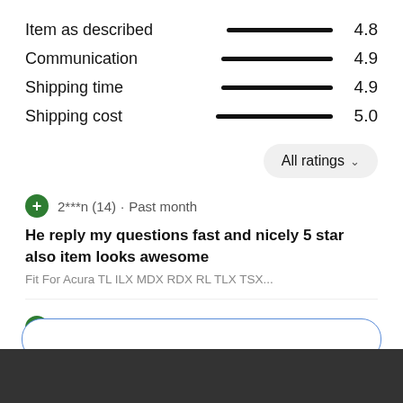| Category | Bar | Score |
| --- | --- | --- |
| Item as described |  | 4.8 |
| Communication |  | 4.9 |
| Shipping time |  | 4.9 |
| Shipping cost |  | 5.0 |
All ratings ∨
2***n (14) · Past month
He reply my questions fast and nicely 5 star also item looks awesome
Fit For Acura TL ILX MDX RDX RL TLX TSX...
o***l (918) · Past month
Came very fast Good Quality and also the carpet fit perfect they are amazing my car look much better from inside very sporty and elegant at the same time thank you Glad to do...